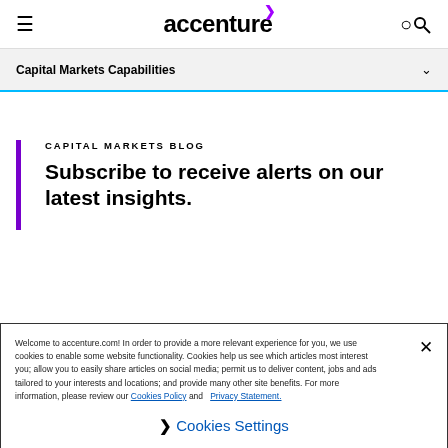accenture
Capital Markets Capabilities
CAPITAL MARKETS BLOG
Subscribe to receive alerts on our latest insights.
Welcome to accenture.com! In order to provide a more relevant experience for you, we use cookies to enable some website functionality. Cookies help us see which articles most interest you; allow you to easily share articles on social media; permit us to deliver content, jobs and ads tailored to your interests and locations; and provide many other site benefits. For more information, please review our Cookies Policy and Privacy Statement.
Cookies Settings